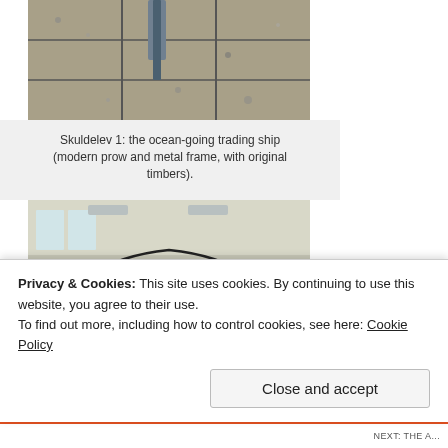[Figure (photo): Photo of Skuldelev 1 ship remains showing stone/gravel background with modern metal frame structure, ocean-going trading ship]
Skuldelev 1: the ocean-going trading ship (modern prow and metal frame, with original timbers).
[Figure (photo): Photo of Skuldelev 2 longship skeleton displayed in museum hall, showing curved dark metal ribs of longship hull]
Skuldelev 2: the great longship.
Privacy & Cookies: This site uses cookies. By continuing to use this website, you agree to their use.
To find out more, including how to control cookies, see here: Cookie Policy
Close and accept